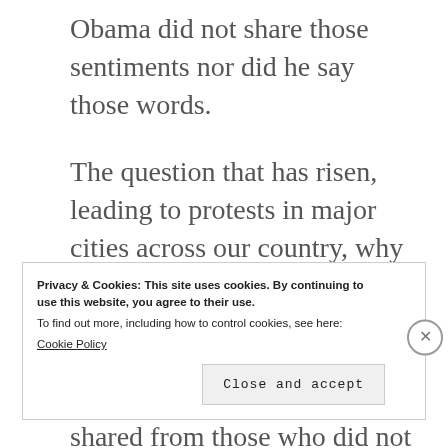Obama did not share those sentiments nor did he say those words.
The question that has risen, leading to protests in major cities across our country, why is it acceptable to behave in the way Donald Trump has throughout this entire election cycle? The common consensus shared from those who did not vote for Donald Trump is he incited closet racists
Privacy & Cookies: This site uses cookies. By continuing to use this website, you agree to their use.
To find out more, including how to control cookies, see here: Cookie Policy